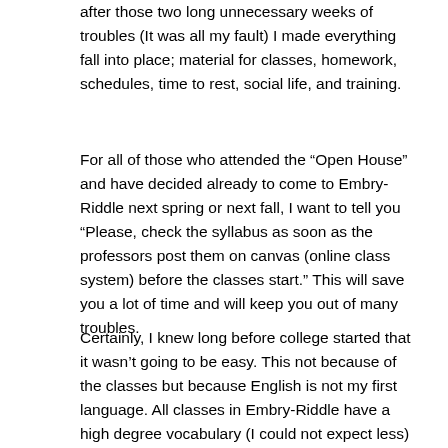after those two long unnecessary weeks of troubles (It was all my fault) I made everything fall into place; material for classes, homework, schedules, time to rest, social life, and training.
For all of those who attended the “Open House” and have decided already to come to Embry-Riddle next spring or next fall, I want to tell you “Please, check the syllabus as soon as the professors post them on canvas (online class system) before the classes start.” This will save you a lot of time and will keep you out of many troubles.
Certainly, I knew long before college started that it wasn’t going to be easy. This not because of the classes but because English is not my first language. All classes in Embry-Riddle have a high degree vocabulary (I could not expect less) which is great, but it was a big challenge to adapt the daily base-English to a sophisticated-English